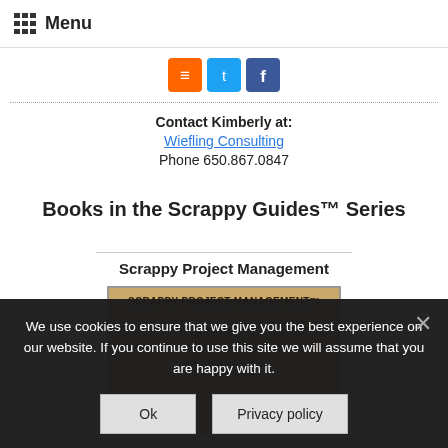Menu
[Figure (other): Social media icons: RSS (orange), Twitter (blue), Facebook (blue)]
Contact Kimberly at:
Wiefling Consulting
Phone 650.867.0847
Books in the Scrappy Guides™ Series
Scrappy Project Management
[Figure (photo): Book cover: Scrappy Project Management - The 12 Predictable and Avoidable Pitfalls Every Project Faces]
We use cookies to ensure that we give you the best experience on our website. If you continue to use this site we will assume that you are happy with it.